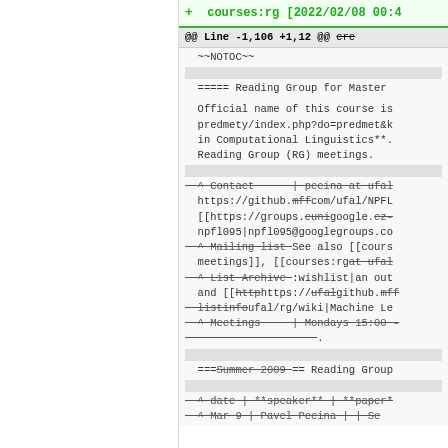+ courses:rg [2022/02/08 00:4...
@@ Line -1,106 +1,12 @@ removed cre...
~~NOTOC~~

===== Reading Group for Master...

Official name of this course is...
predmety/index.php?do=predmet&k...
in Computational Linguistics**....
Reading Group (RG) meetings.

(strikethrough lines with Contact, Mailing list, List Archive, Meetings sections)

===Summer 2009== Reading Group...

(strikethrough A date | **speaker** | **paper*...)
(strikethrough A Mar 9 | Pavel Pecina | | Se...)